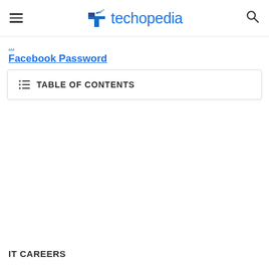techopedia
Facebook Password
TABLE OF CONTENTS
IT CAREERS